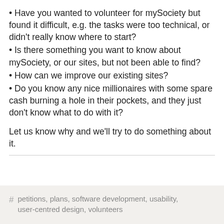• Have you wanted to volunteer for mySociety but found it difficult, e.g. the tasks were too technical, or didn't really know where to start?
• Is there something you want to know about mySociety, or our sites, but not been able to find?
• How can we improve our existing sites?
• Do you know any nice millionaires with some spare cash burning a hole in their pockets, and they just don't know what to do with it?
Let us know why and we'll try to do something about it.
# petitions, plans, software development, usability, user-centred design, volunteers